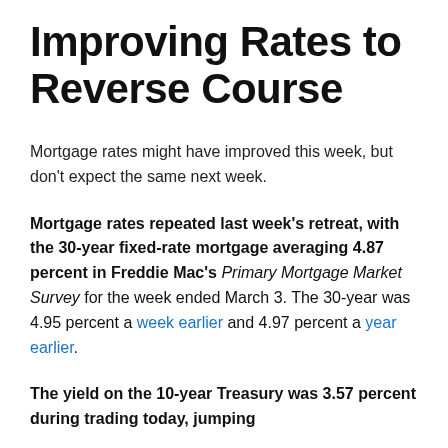Improving Rates to Reverse Course
Mortgage rates might have improved this week, but don't expect the same next week.
Mortgage rates repeated last week's retreat, with the 30-year fixed-rate mortgage averaging 4.87 percent in Freddie Mac's Primary Mortgage Market Survey for the week ended March 3. The 30-year was 4.95 percent a week earlier and 4.97 percent a year earlier.
The yield on the 10-year Treasury was 3.57 percent during trading today, jumping